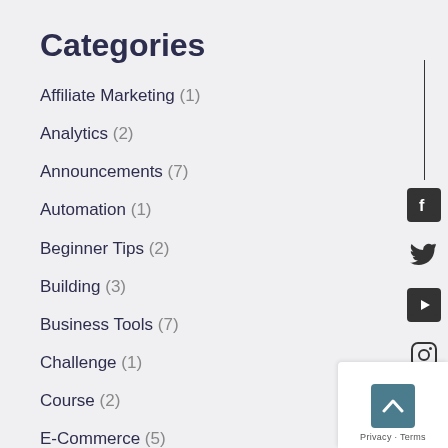Categories
Affiliate Marketing (1)
Analytics (2)
Announcements (7)
Automation (1)
Beginner Tips (2)
Building (3)
Business Tools (7)
Challenge (1)
Course (2)
E-Commerce (5)
Getting Started (4)
Non-Techie News (1)